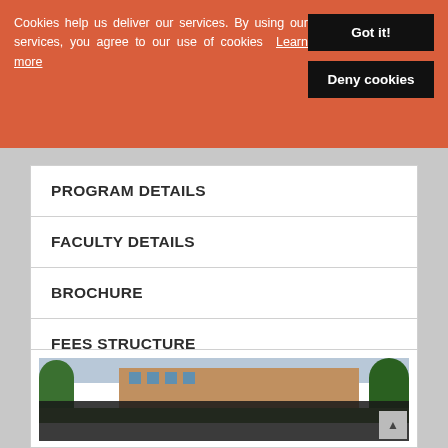Cookies help us deliver our services. By using our services, you agree to our use of cookies  Learn more
Got it!
Deny cookies
PROGRAM DETAILS
FACULTY DETAILS
BROCHURE
FEES STRUCTURE
SYLLABUS
[Figure (photo): Group of students in uniforms standing outside a college campus building with trees and greenery in the background]